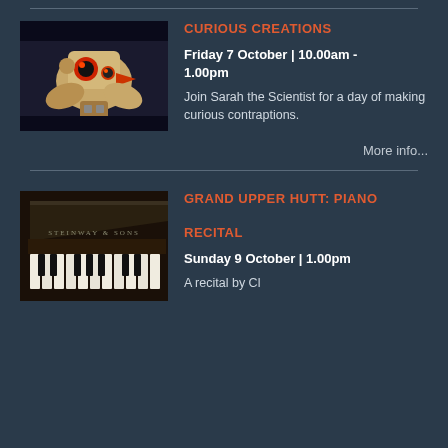CURIOUS CREATIONS
Friday 7 October | 10.00am - 1.00pm
Join Sarah the Scientist for a day of making curious contraptions.
More info...
GRAND UPPER HUTT: PIANO RECITAL
Sunday 9 October | 1.00pm